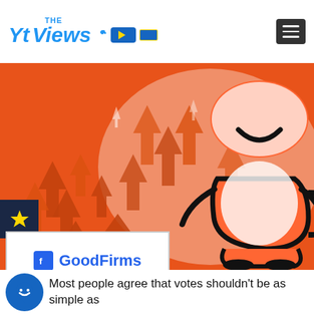THE Yt Views [logo]
[Figure (illustration): Hero image showing orange upward arrows and a cartoon character on orange background, with a GoodFirms badge overlay and star badge]
Most people agree that votes shouldn't be as simple as